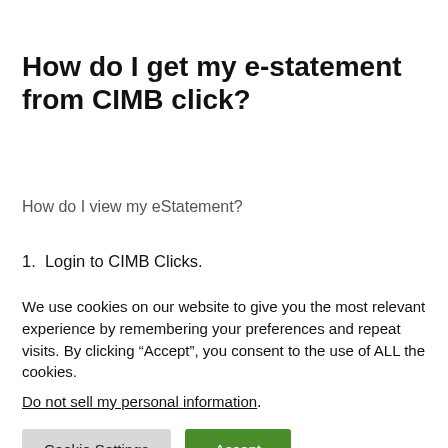How do I get my e-statement from CIMB click?
How do I view my eStatement?
1. Login to CIMB Clicks.
We use cookies on our website to give you the most relevant experience by remembering your preferences and repeat visits. By clicking “Accept”, you consent to the use of ALL the cookies.
Do not sell my personal information.